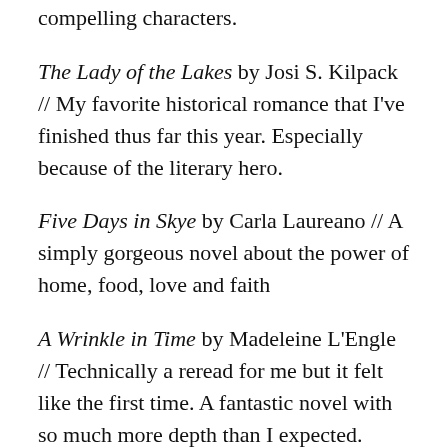compelling characters.
The Lady of the Lakes by Josi S. Kilpack // My favorite historical romance that I've finished thus far this year. Especially because of the literary hero.
Five Days in Skye by Carla Laureano // A simply gorgeous novel about the power of home, food, love and faith
A Wrinkle in Time by Madeleine L'Engle // Technically a reread for me but it felt like the first time. A fantastic novel with so much more depth than I expected.
Bridge to Terabithia by Katherine Paterson // I loved